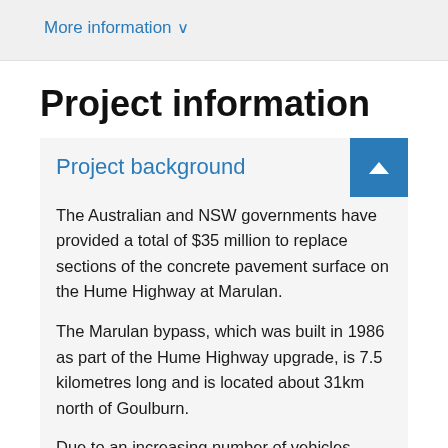More information ∨
Project information
Project background
The Australian and NSW governments have provided a total of $35 million to replace sections of the concrete pavement surface on the Hume Highway at Marulan.
The Marulan bypass, which was built in 1986 as part of the Hume Highway upgrade, is 7.5 kilometres long and is located about 31km north of Goulburn.
Due to an increasing number of vehicles using the highway each year, the condition of the